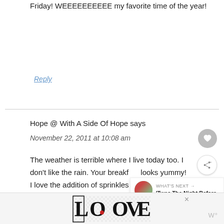Friday! WEEEEEEEEEE my favorite time of the year!
Reply
Hope @ With A Side Of Hope says
November 22, 2011 at 10:08 am
The weather is terrible where I live today too. I don't like the rain. Your breakfast looks yummy! I love the addition of sprinkles 🙂
[Figure (other): WHAT'S NEXT widget with a person's photo and text 'Twas The Night Before]
[Figure (logo): LOVE decorative text art logo at bottom]
×
W°